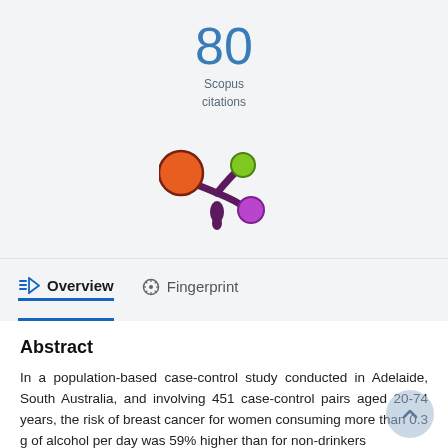80
Scopus
citations
[Figure (logo): Altmetric donut logo with orange, green, and purple colored circles on a dark purple stalk/stem shape]
Overview
Fingerprint
Abstract
In a population-based case-control study conducted in Adelaide, South Australia, and involving 451 case-control pairs aged 20-74 years, the risk of breast cancer for women consuming more than 0.3 g of alcohol per day was 59% higher than for non-drinkers